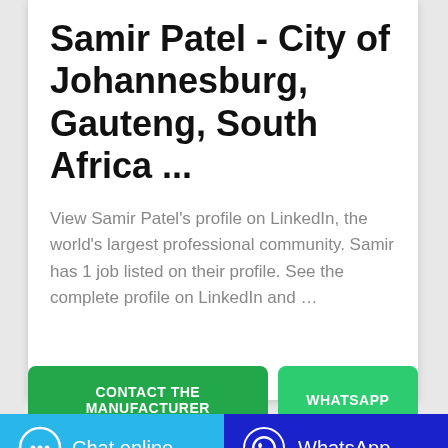Samir Patel - City of Johannesburg, Gauteng, South Africa ...
View Samir Patel's profile on LinkedIn, the world's largest professional community. Samir has 1 job listed on their profile. See the complete profile on LinkedIn and …
[Figure (other): Green button labeled 'CONTACT THE MANUFACTURER']
[Figure (other): Green button labeled 'WHATSAPP']
[Figure (other): Blue chat bar with chat bubble icon and 'Chat online' text]
[Figure (other): Dark blue WhatsApp bar with WhatsApp icon and 'WhatsApp' text]